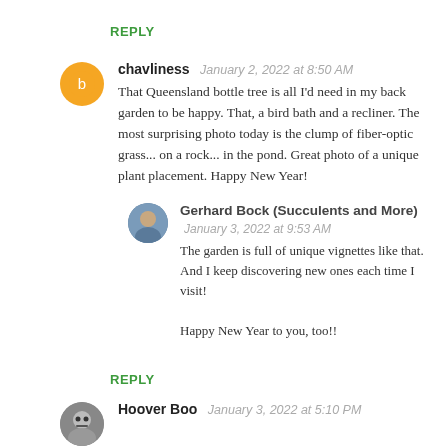REPLY
chavliness January 2, 2022 at 8:50 AM
That Queensland bottle tree is all I'd need in my back garden to be happy. That, a bird bath and a recliner. The most surprising photo today is the clump of fiber-optic grass... on a rock... in the pond. Great photo of a unique plant placement. Happy New Year!
Gerhard Bock (Succulents and More) January 3, 2022 at 9:53 AM
The garden is full of unique vignettes like that. And I keep discovering new ones each time I visit!

Happy New Year to you, too!!
REPLY
Hoover Boo January 3, 2022 at 5:10 PM